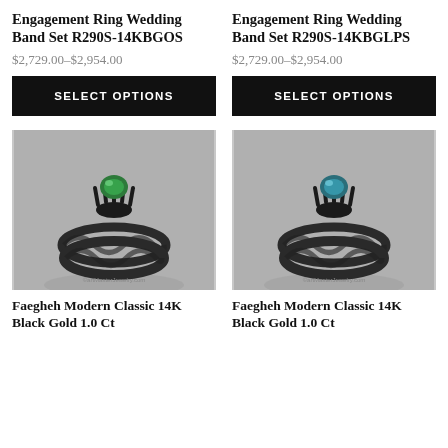Engagement Ring Wedding Band Set R290S-14KBGOS
$2,729.00–$2,954.00
SELECT OPTIONS
Engagement Ring Wedding Band Set R290S-14KBGLPS
$2,729.00–$2,954.00
SELECT OPTIONS
[Figure (photo): Black gold ring set with emerald green gemstone, twisted rope band design on grey background]
[Figure (photo): Black gold ring set with blue/teal gemstone, twisted rope band design on grey background]
Faegheh Modern Classic 14K Black Gold 1.0 Ct
Faegheh Modern Classic 14K Black Gold 1.0 Ct